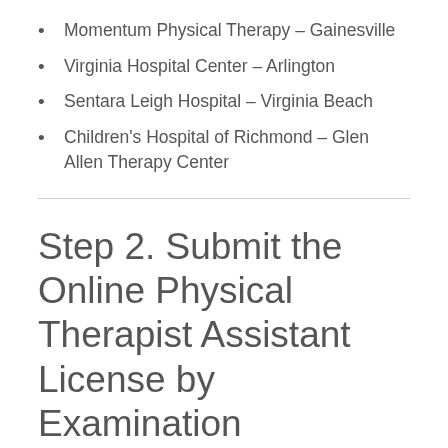Momentum Physical Therapy – Gainesville
Virginia Hospital Center – Arlington
Sentara Leigh Hospital – Virginia Beach
Children's Hospital of Richmond – Glen Allen Therapy Center
Step 2. Submit the Online Physical Therapist Assistant License by Examination Application
Once you graduate with your associate's degree – or when you are within 60 days of graduation – you can